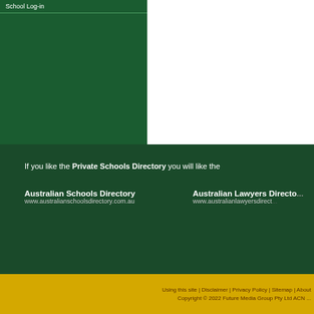School Log-in
[Figure (screenshot): Green sidebar panel for school log-in and white content area on the right]
If you like the Private Schools Directory you will like the
Australian Schools Directory
www.australianschoolsdirectory.com.au
Australian Lawyers Directory
www.australianlawyersdirect...
Using this site | Disclaimer | Privacy Policy | Sitemap | About
Copyright © 2022 Future Media Group Pty Ltd ACN ...